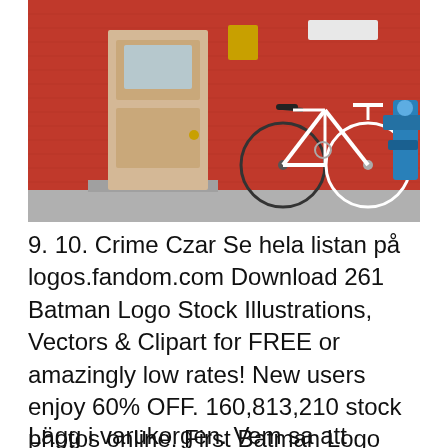[Figure (photo): Photo of a red brick building exterior with a cream/beige wooden door, white bicycle leaning against the wall, blue valve/pipe fixture on the right side, and a white mailbox or sign on the upper right of the wall.]
9. 10. Crime Czar Se hela listan på logos.fandom.com Download 261 Batman Logo Stock Illustrations, Vectors & Clipart for FREE or amazingly low rates! New users enjoy 60% OFF. 160,813,210 stock photos online. First Batman Logo First Batman Logo. The first Batman symbol was the most minimalistic of all in the history of the comics. The bat was a plain silhouette-like image, with no ears, no head, and the size of the image itself took up much less space on the suit than subsequent versions.
Lägg i varukorgen. Vem sa att ansiktsmasker